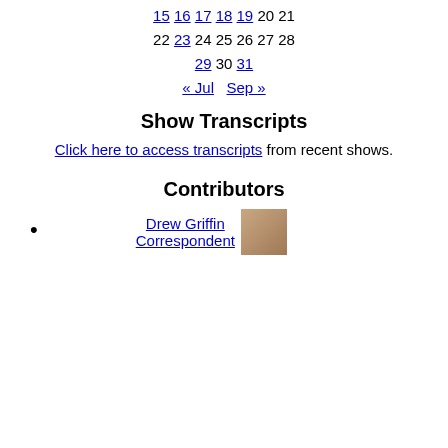15 16 17 18 19 20 21
22 23 24 25 26 27 28
29 30 31
« Jul   Sep »
Show Transcripts
Click here to access transcripts from recent shows.
Contributors
Drew Griffin Correspondent